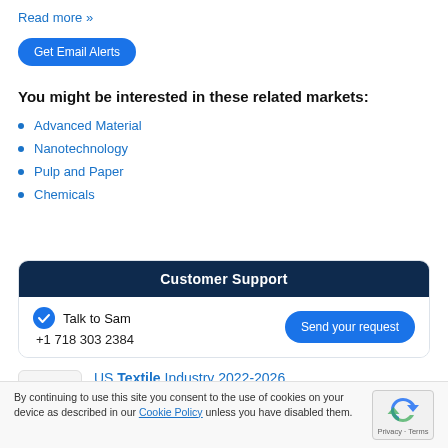Read more »
Get Email Alerts
You might be interested in these related markets:
Advanced Material
Nanotechnology
Pulp and Paper
Chemicals
Customer Support
Talk to Sam
+1 718 303 2384
Send your request
US Textile Industry 2022-2026
1900 Reports
Textile Expenditure, Textile Price
1900 Statistics
By continuing to use this site you consent to the use of cookies on your device as described in our Cookie Policy unless you have disabled them.